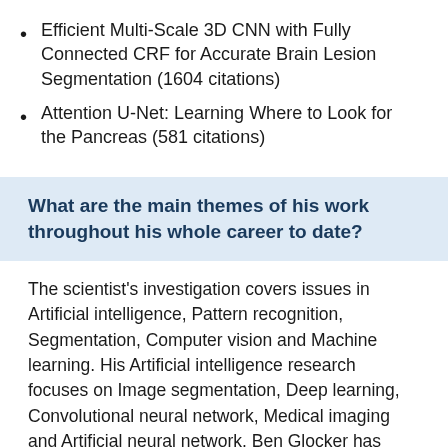Efficient Multi-Scale 3D CNN with Fully Connected CRF for Accurate Brain Lesion Segmentation (1604 citations)
Attention U-Net: Learning Where to Look for the Pancreas (581 citations)
What are the main themes of his work throughout his whole career to date?
The scientist's investigation covers issues in Artificial intelligence, Pattern recognition, Segmentation, Computer vision and Machine learning. His Artificial intelligence research focuses on Image segmentation, Deep learning, Convolutional neural network, Medical imaging and Artificial neural network. Ben Glocker has researched Pattern recognition in several fields, including Domain, Leverage, Embedding, Image and Neuroimaging.